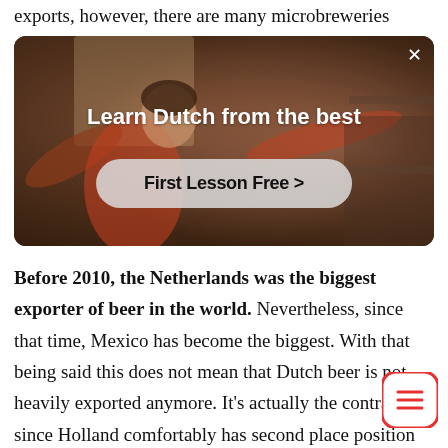exports, however, there are many microbreweries
[Figure (screenshot): Advertisement banner for Dutch language learning app. Dark warm background image showing a person in a red top with arms outstretched. White bold text reads 'Learn Dutch from the best'. A pill-shaped button with text 'First Lesson Free >' appears below. An X close button is in the top right corner.]
Before 2010, the Netherlands was the biggest exporter of beer in the world. Nevertheless, since that time, Mexico has become the biggest. With that being said this does not mean that Dutch beer is not heavily exported anymore. It's actually the contrary since Holland comfortably has second place position of beer exportation for many
[Figure (illustration): Red rounded square menu/list icon button in the bottom right corner of the screen.]